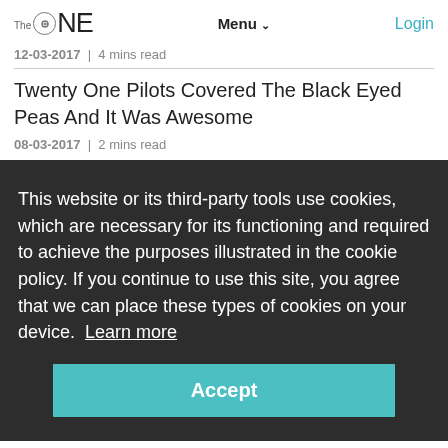The ONE  Menu  Login
12-03-2017  |  4 mins read
Twenty One Pilots Covered The Black Eyed Peas And It Was Awesome
08-03-2017  |  2 mins read
This website or its third-party tools use cookies, which are necessary for its functioning and required to achieve the purposes illustrated in the cookie policy. If you continue to use this site, you agree that we can place these types of cookies on your device.  Learn more
Accept
One Pilots 'Cancer' Mash-Up